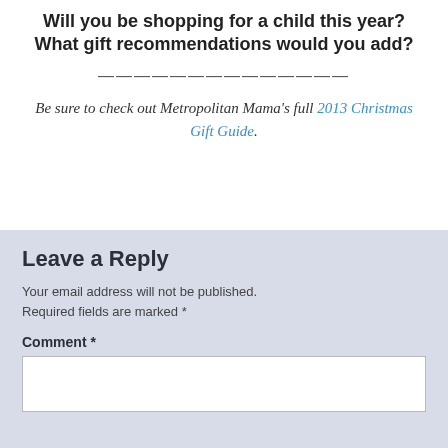Will you be shopping for a child this year? What gift recommendations would you add?
——————————————
Be sure to check out Metropolitan Mama's full 2013 Christmas Gift Guide.
Leave a Reply
Your email address will not be published. Required fields are marked *
Comment *